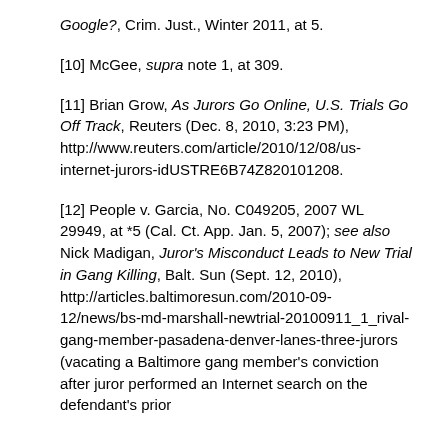Google?, Crim. Just., Winter 2011, at 5.
[10] McGee, supra note 1, at 309.
[11] Brian Grow, As Jurors Go Online, U.S. Trials Go Off Track, Reuters (Dec. 8, 2010, 3:23 PM), http://www.reuters.com/article/2010/12/08/us-internet-jurors-idUSTRE6B74Z820101208.
[12] People v. Garcia, No. C049205, 2007 WL 29949, at *5 (Cal. Ct. App. Jan. 5, 2007); see also Nick Madigan, Juror's Misconduct Leads to New Trial in Gang Killing, Balt. Sun (Sept. 12, 2010), http://articles.baltimoresun.com/2010-09-12/news/bs-md-marshall-newtrial-20100911_1_rival-gang-member-pasadena-denver-lanes-three-jurors (vacating a Baltimore gang member's conviction after juror performed an Internet search on the defendant's prior